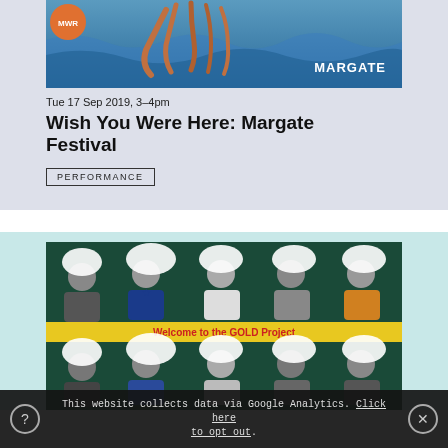[Figure (photo): Margate Festival promotional image with octopus sculpture in ocean water, orange logo circle top-left, MARGATE text overlay bottom-right]
Tue 17 Sep 2019, 3–4pm
Wish You Were Here: Margate Festival
PERFORMANCE
[Figure (photo): Group photo of people holding speech bubble signs, 'Welcome to the GOLD Project' banner in yellow, people arranged in two rows on dark teal background]
This website collects data via Google Analytics. Click here to opt out.